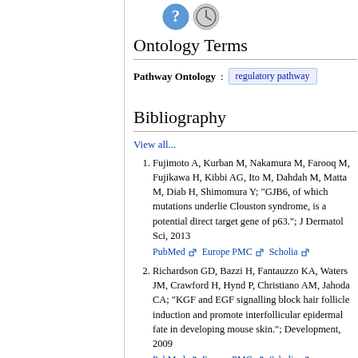Ontology Terms
Pathway Ontology : regulatory pathway
Bibliography
View all...
Fujimoto A, Kurban M, Nakamura M, Farooq M, Fujikawa H, Kibbi AG, Ito M, Dahdah M, Matta M, Diab H, Shimomura Y; "GJB6, of which mutations underlie Clouston syndrome, is a potential direct target gene of p63."; J Dermatol Sci, 2013 PubMed Europe PMC Scholia
Richardson GD, Bazzi H, Fantauzzo KA, Waters JM, Crawford H, Hynd P, Christiano AM, Jahoda CA; "KGF and EGF signalling block hair follicle induction and promote interfollicular epidermal fate in developing mouse skin."; Development, 2009 PubMed Europe PMC Scholia